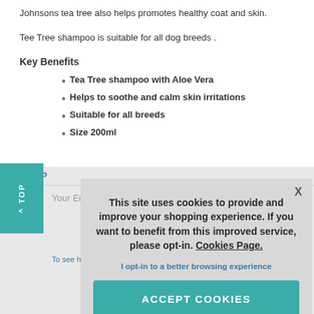Johnsons tea tree also helps promotes healthy coat and skin.
Tee Tree shampoo is suitable for all dog breeds .
Key Benefits
Tea Tree shampoo with Aloe Vera
Helps to soothe and calm skin irritations
Suitable for all breeds
Size 200ml
SIGN UP
Your Email Ad
To see how w
T: 01297 659167
[Figure (screenshot): Cookie consent overlay popup with text: 'This site uses cookies to provide and improve your shopping experience. If you want to benefit from this improved service, please opt-in. Cookies Page.' and a link 'I opt-in to a better browsing experience' and an ACCEPT COOKIES button. Has an X close button in top right corner.]